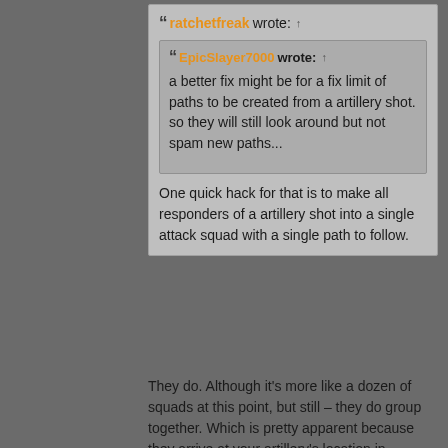ratchetfreak wrote:
EpicSlayer7000 wrote: a better fix might be for a fix limit of paths to be created from a artillery shot. so they will still look around but not spam new paths...
One quick hack for that is to make all responders of a artillery shot into a single attack squad with a single path to follow.
They do. Although it's more like a dozen of squads at this point, but still – they do group together. Which is pretty apparent because they arrive at your artillery's location in groups.
so in the end... if it is not path finding that clogs the Original Poster's map or case... what could be a rough guess at cause of the 90% performance loss after shooting at the